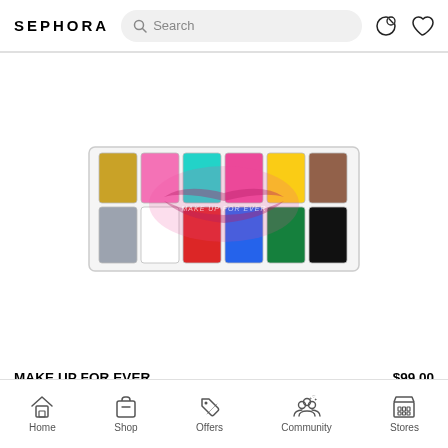SEPHORA
[Figure (photo): MAKE UP FOR EVER Flash Color Palette with 12 colorful pans in a rectangular case. Top row: gold, pink, teal/cyan, hot pink, yellow, brown. Bottom row: grey, white, red, blue, green, black. A lips logo is overlaid across the center pans.]
MAKE UP FOR EVER
$99.00
Flash Color Palette Multip... Scree... Col...
Home  Shop  Offers  Community  Stores